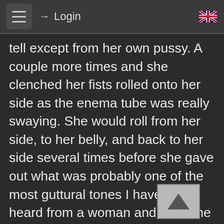Login
tell except from her own pussy. A couple more times and she clenched her fists rolled onto her side as the enema tube was really swaying. She would roll from her side, to her belly, and back to her side several times before she gave out what was probably one of the most guttural tones I have ever heard from a woman and then she put her face onto the bed and her body shook with what was probably her sobbing. I wasn't sure what was going on but there she was. Her enema bag dangling above her and as flat as a piece of paper. The hose was still in her